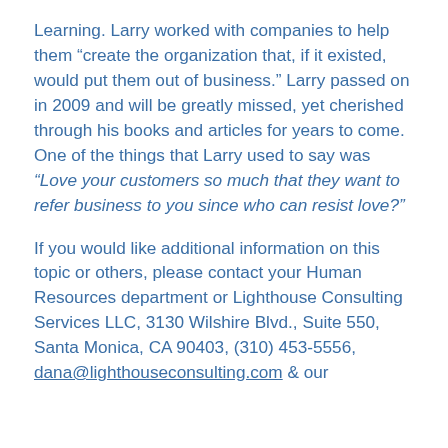Learning. Larry worked with companies to help them “create the organization that, if it existed, would put them out of business.” Larry passed on in 2009 and will be greatly missed, yet cherished through his books and articles for years to come. One of the things that Larry used to say was “Love your customers so much that they want to refer business to you since who can resist love?”
If you would like additional information on this topic or others, please contact your Human Resources department or Lighthouse Consulting Services LLC, 3130 Wilshire Blvd., Suite 550, Santa Monica, CA 90403, (310) 453-5556, dana@lighthouseconsulting.com & our